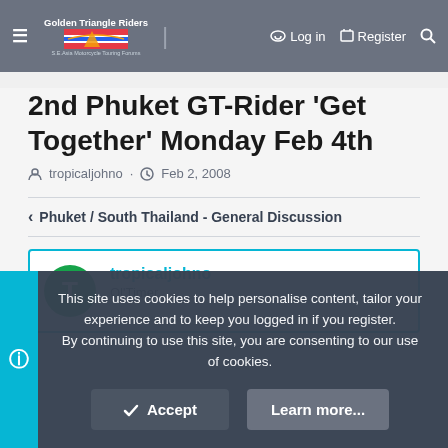Golden Triangle Riders — Log in | Register
2nd Phuket GT-Rider 'Get Together' Monday Feb 4th
tropicaljohno · Feb 2, 2008
Phuket / South Thailand - General Discussion
tropicaljohno
Ol'Timer
This site uses cookies to help personalise content, tailor your experience and to keep you logged in if you register. By continuing to use this site, you are consenting to our use of cookies.